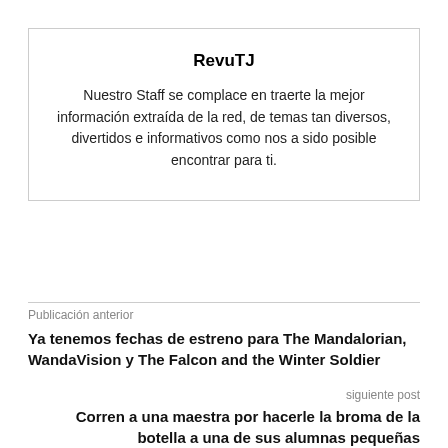RevuTJ
Nuestro Staff se complace en traerte la mejor información extraída de la red, de temas tan diversos, divertidos e informativos como nos a sido posible encontrar para ti.
Publicación anterior
Ya tenemos fechas de estreno para The Mandalorian, WandaVision y The Falcon and the Winter Soldier
siguiente post
Corren a una maestra por hacerle la broma de la botella a una de sus alumnas pequeñas